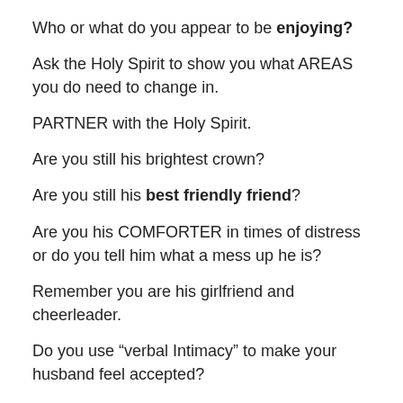Who or what do you appear to be enjoying?
Ask the Holy Spirit to show you what AREAS you do need to change in.
PARTNER with the Holy Spirit.
Are you still his brightest crown?
Are you still his best friendly friend?
Are you his COMFORTER in times of distress or do you tell him what a mess up he is?
Remember you are his girlfriend and cheerleader.
Do you use “verbal Intimacy” to make your husband feel accepted?
You can do it! You did it once before.